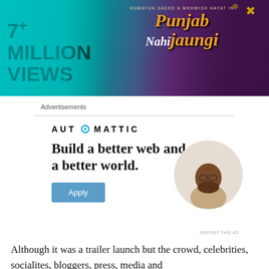[Figure (photo): Banner advertisement for 'Punjab Nahi Jaungi' film showing text '7 MILLION+ VIEWS' on teal background with film title and decorated woman on right]
Advertisements
[Figure (logo): Automattic logo with stylized compass O icon]
[Figure (infographic): Automattic job ad: 'Build a better web and a better world.' with Apply button and circular photo of man thinking]
REPORT THIS AD
Although it was a trailer launch but the crowd, celebrities, socialites, bloggers, press, media and